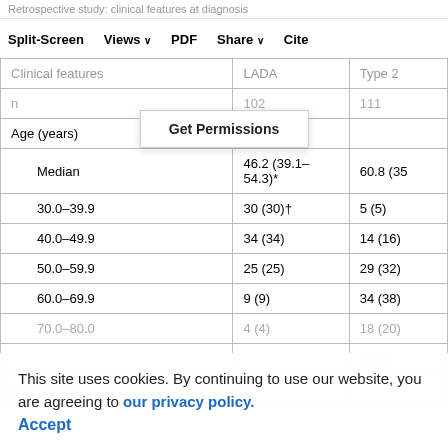Retrospective study: clinical features at diagnosis
Split-Screen   Views   PDF   Share   Cite
| Clinical features | LADA | Type 2 |
| --- | --- | --- |
| n | 102 | 111 |
| Age (years) |  |  |
| Median | 46.2 (39.1–54.3)* | 60.8 (35… |
| 30.0–39.9 | 30 (30)† | 5 (5) |
| 40.0–49.9 | 34 (34) | 14 (16) |
| 50.0–59.9 | 25 (25) | 29 (32) |
| 60.0–69.9 | 9 (9) | 34 (38) |
| 70.0–80.0 | 4 (4) | 18 (20) |
| Sex (female/male) |  | 55/56 |
| BMI (kg/m²) |  |  |
Get Permissions
This site uses cookies. By continuing to use our website, you are agreeing to our privacy policy. Accept